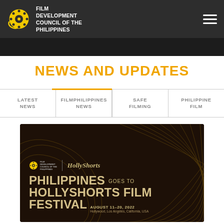FILM DEVELOPMENT COUNCIL OF THE PHILIPPINES
[Figure (screenshot): Dark image strip showing partial film/cinema imagery]
NEWS AND UPDATES
LATEST NEWS
FILMPHILIPPINES NEWS
SAFE FILMING
PHILIPPINE FILM
[Figure (infographic): Philippines goes to HollyShorts Film Festival promotional banner. Dark brown background with decorative wave lines. Text: PHILIPPINES GOES TO HOLLYSHORTS FILM FESTIVAL AUGUST 11-20, 2022 Hollywood, Los Angeles, California, USA]